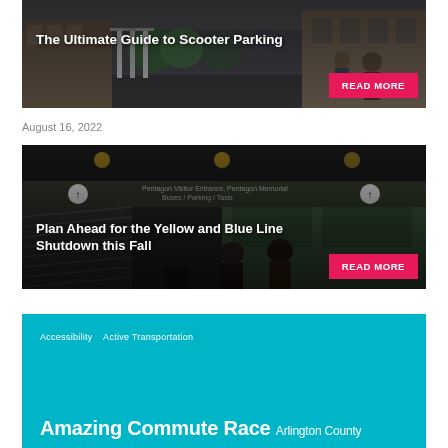[Figure (photo): Outdoor street scene with electric scooters parked, people walking in background, urban setting]
The Ultimate Guide to Scooter Parking
READ MORE
August 16, 2022
[Figure (photo): Metro/subway station interior showing escalators and people, with a sign reading Pentagon Visitor Entrance, Pentagon Memorial, Buses / Parking / Taxis]
Plan Ahead for the Yellow and Blue Line Shutdown this Fall
READ MORE
[Figure (photo): Teal/cyan background card with category tags and beginning of article title]
Accessibility  Active Transportation
Amazing Commute Race  Arlington County